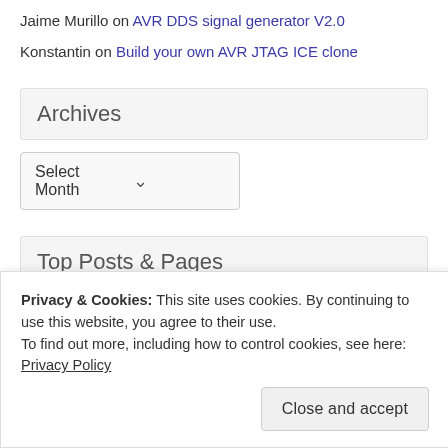Jaime Murillo on AVR DDS signal generator V2.0
Konstantin on Build your own AVR JTAG ICE clone
Archives
Select Month
Top Posts & Pages
Flashing programs to STM32  Embedded Bootloader
Privacy & Cookies: This site uses cookies. By continuing to use this website, you agree to their use. To find out more, including how to control cookies, see here: Privacy Policy
Close and accept
Understanding 1-wire interface